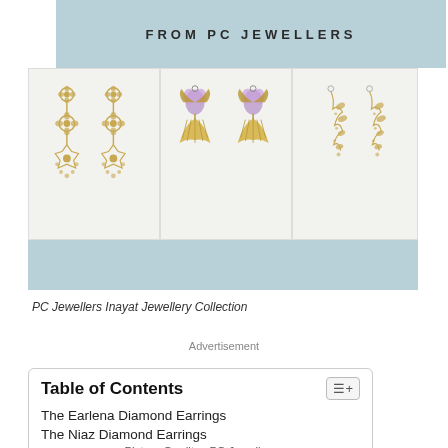[Figure (illustration): Banner with text FROM PC JEWELLERS on a light blue/teal background]
[Figure (photo): Three panels showing PC Jewellers Inayat Jewellery Collection earrings: left panel shows ornate gold floral drop earrings, center panel shows peacock-shaped earrings with purple enamel, right panel shows gold vine/leaf cascade earrings]
PC Jewellers Inayat Jewellery Collection
Advertisement
Table of Contents
The Earlena Diamond Earrings
The Niaz Diamond Earrings
Picture Credits : PC Jewellers
The Delaney Diamond Earrings